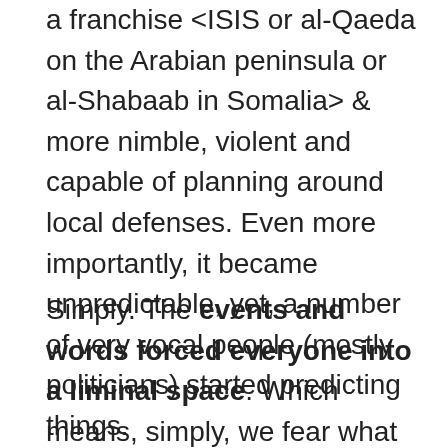a franchise <ISIS or al-Qaeda on the Arabian peninsula or al-Shabaab in Somalia> & more nimble, violent and capable of planning around local defenses. Even more importantly, it became unpredictable, yet, a number of very vocal people (mostly politicians) started predicting things.
Simply. The events and words forced everyone into a liminal space. Which means, simply, we fear what we do not understand.